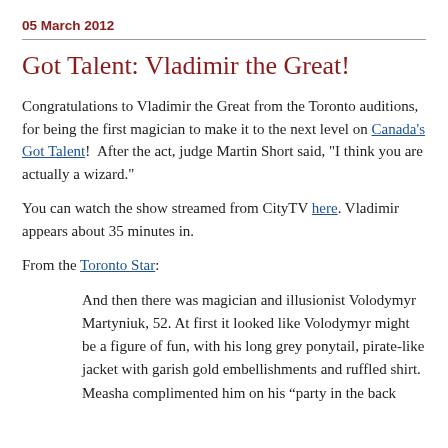05 March 2012
Got Talent: Vladimir the Great!
Congratulations to Vladimir the Great from the Toronto auditions, for being the first magician to make it to the next level on Canada's Got Talent!  After the act, judge Martin Short said, "I think you are actually a wizard."
You can watch the show streamed from CityTV here. Vladimir appears about 35 minutes in.
From the Toronto Star:
And then there was magician and illusionist Volodymyr Martyniuk, 52. At first it looked like Volodymyr might be a figure of fun, with his long grey ponytail, pirate-like jacket with garish gold embellishments and ruffled shirt. Measha complimented him on his “party in the back